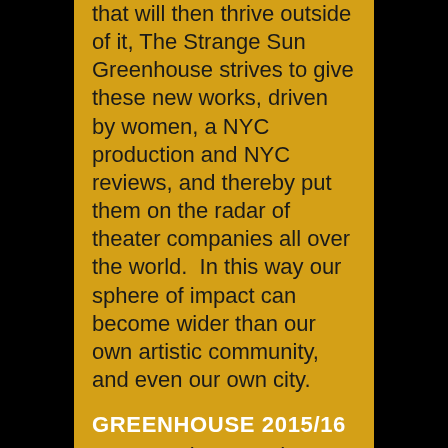Greenhouse is to nurture plants that will then thrive outside of it, The Strange Sun Greenhouse strives to give these new works, driven by women, a NYC production and NYC reviews, and thereby put them on the radar of theater companies all over the world.  In this way our sphere of impact can become wider than our own artistic community, and even our own city.
GREENHOUSE 2015/16
Focus: Science and Art Science and the Arts are intricately linked, as they both seek to answer the age-old questions of humanity.  Many people see science as a debunker of myth, but in actuality science